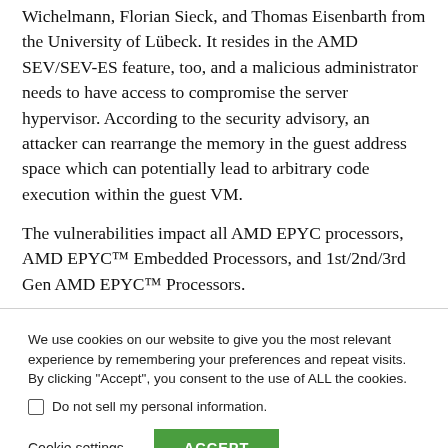Wichelmann, Florian Sieck, and Thomas Eisenbarth from the University of Lübeck. It resides in the AMD SEV/SEV-ES feature, too, and a malicious administrator needs to have access to compromise the server hypervisor. According to the security advisory, an attacker can rearrange the memory in the guest address space which can potentially lead to arbitrary code execution within the guest VM.
The vulnerabilities impact all AMD EPYC processors, AMD EPYC™ Embedded Processors, and 1st/2nd/3rd Gen AMD EPYC™ Processors.
We use cookies on our website to give you the most relevant experience by remembering your preferences and repeat visits. By clicking "Accept", you consent to the use of ALL the cookies.
Do not sell my personal information.
Cookie settings   ACCEPT